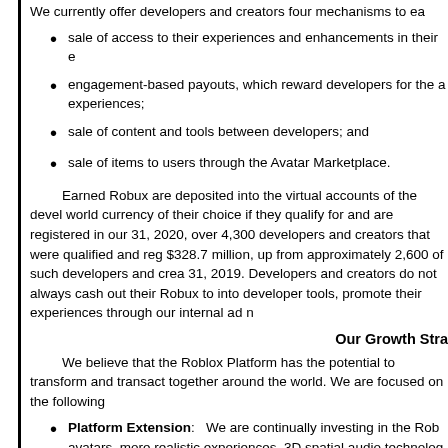We currently offer developers and creators four mechanisms to ea
sale of access to their experiences and enhancements in their e
engagement-based payouts, which reward developers for the a experiences;
sale of content and tools between developers; and
sale of items to users through the Avatar Marketplace.
Earned Robux are deposited into the virtual accounts of the deve world currency of their choice if they qualify for and are registered in our 31, 2020, over 4,300 developers and creators that were qualified and reg $328.7 million, up from approximately 2,600 of such developers and crea 31, 2019. Developers and creators do not always cash out their Robux to into developer tools, promote their experiences through our internal ad n
Our Growth Stra
We believe that the Roblox Platform has the potential to transform and transact together around the world. We are focused on the following
Platform Extension: We are continually investing in the Rob avatars, more realistic experiences, 3D spatial audio technolog enable Roblox to support human co-experience in the entertain
Age Demographic Expansion: As a result of platform extens quality experiences and content that appeals to an older age de increase our penetration and engagement across all age demo
International Reach: We believe there is significant potential some of that will occur by the same organic, word of mouth usa